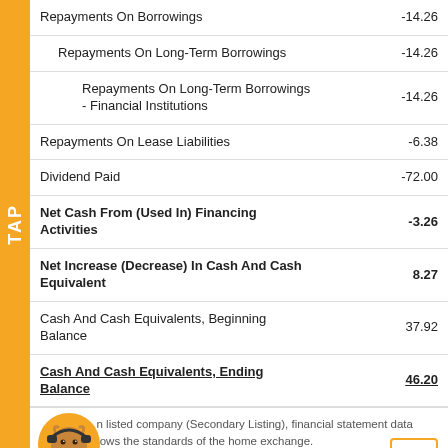| Item | Value |
| --- | --- |
| Repayments On Borrowings | -14.26 |
| Repayments On Long-Term Borrowings | -14.26 |
| Repayments On Long-Term Borrowings - Financial Institutions | -14.26 |
| Repayments On Lease Liabilities | -6.38 |
| Dividend Paid | -72.00 |
| Net Cash From (Used In) Financing Activities | -3.26 |
| Net Increase (Decrease) In Cash And Cash Equivalent | 8.27 |
| Cash And Cash Equivalents, Beginning Balance | 37.92 |
| Cash And Cash Equivalents, Ending Balance | 46.20 |
For a listed company (Secondary Listing), financial statement data follows the standards of the home exchange.